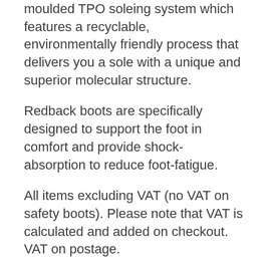moulded TPO soleing system which features a recyclable, environmentally friendly process that delivers you a sole with a unique and superior molecular structure.
Redback boots are specifically designed to support the foot in comfort and provide shock-absorption to reduce foot-fatigue.
All items excluding VAT (no VAT on safety boots). Please note that VAT is calculated and added on checkout. VAT on postage.
All boots no lining so it does not draw your feet.
P&P is £6 on each item. Please contact us for postage costs for IRE & the rest of Europe.
Boot Size: All Redback boots are available in sizes 14 to 15 and are £15 extra. These must be ordered over the